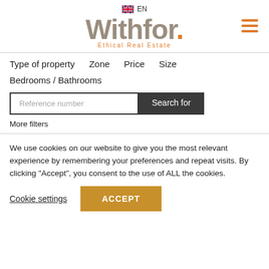🇬🇧 EN
[Figure (logo): Withfor. Ethical Real Estate logo with hamburger menu icon]
Type of property   Zone   Price   Size
Bedrooms / Bathrooms
Reference number
Search for
More filters
We use cookies on our website to give you the most relevant experience by remembering your preferences and repeat visits. By clicking “Accept”, you consent to the use of ALL the cookies.
Cookie settings
ACCEPT